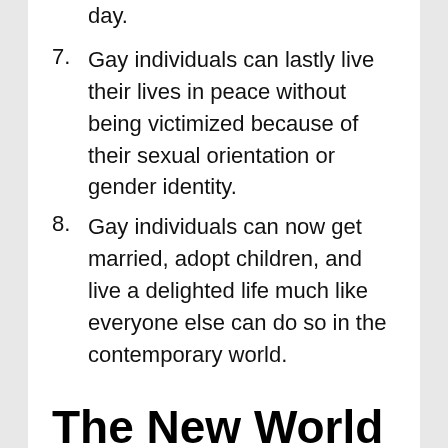day.
7. Gay individuals can lastly live their lives in peace without being victimized because of their sexual orientation or gender identity.
8. Gay individuals can now get married, adopt children, and live a delighted life much like everyone else can do so in the contemporary world.
The New World of Love & Dating for Gays